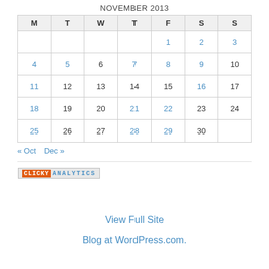NOVEMBER 2013
| M | T | W | T | F | S | S |
| --- | --- | --- | --- | --- | --- | --- |
|  |  |  |  | 1 | 2 | 3 |
| 4 | 5 | 6 | 7 | 8 | 9 | 10 |
| 11 | 12 | 13 | 14 | 15 | 16 | 17 |
| 18 | 19 | 20 | 21 | 22 | 23 | 24 |
| 25 | 26 | 27 | 28 | 29 | 30 |  |
« Oct   Dec »
[Figure (logo): Clicky Analytics badge/logo]
View Full Site
Blog at WordPress.com.